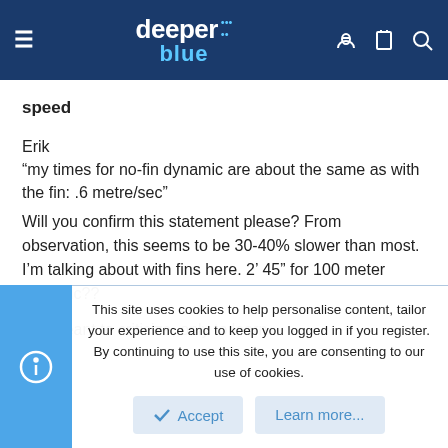deeper blue
speed
Erik
"my times for no-fin dynamic are about the same as with the fin: .6 metre/sec"
Will you confirm this statement please? From observation, this seems to be 30-40% slower than most. I'm talking about with fins here. 2' 45" for 100 meter dynamic??
Not meant to criticize, only to learn.
Aloha
Bill
This site uses cookies to help personalise content, tailor your experience and to keep you logged in if you register.
By continuing to use this site, you are consenting to our use of cookies.